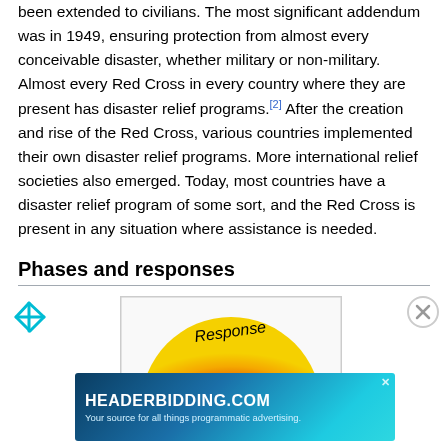been extended to civilians. The most significant addendum was in 1949, ensuring protection from almost every conceivable disaster, whether military or non-military. Almost every Red Cross in every country where they are present has disaster relief programs.[2] After the creation and rise of the Red Cross, various countries implemented their own disaster relief programs. More international relief societies also emerged. Today, most countries have a disaster relief program of some sort, and the Red Cross is present in any situation where assistance is needed.
Phases and responses
[Figure (other): Circular diagram showing disaster response phases including 'Response' label visible at top, with orange/red gradient semicircle]
[Figure (other): Advertisement banner: HEADERBIDDING.COM - Your source for all things programmatic advertising.]